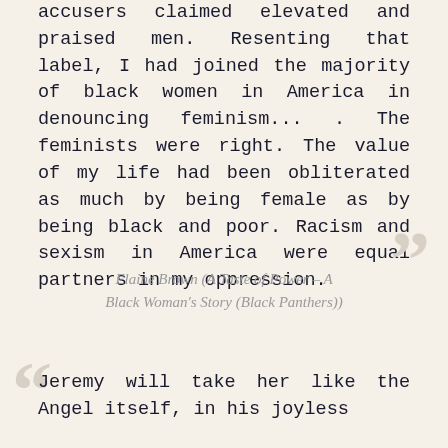accusers claimed elevated and praised men. Resenting that label, I had joined the majority of black women in America in denouncing feminism... . The feminists were right. The value of my life had been obliterated as much by being female as by being black and poor. Racism and sexism in America were equal partners in my oppression.
Elaine Brown (A Taste of Power – A Black Woman's Story (Black Panthers))
Jeremy will take her like the Angel itself, in his joyless